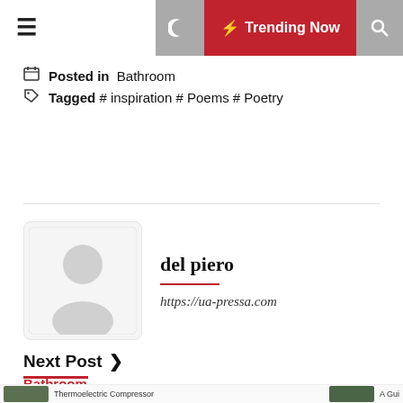≡  Trending Now 🔍
Posted in  Bathroom
Tagged # inspiration # Poems # Poetry
del piero
https://ua-pressa.com
Next Post ›
Bathroom
See inside the colorful Texas home that's entirely underground